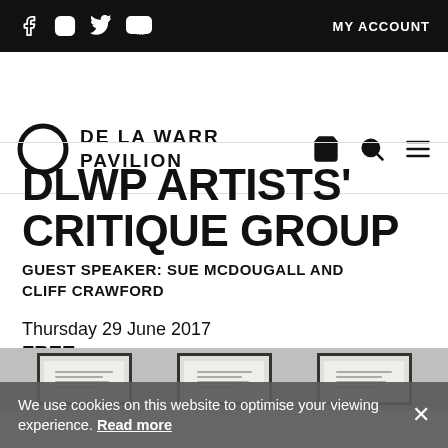Social icons: Facebook, Instagram, Twitter, YouTube | MY ACCOUNT
[Figure (logo): De La Warr Pavilion logo — black circle outline with text DE LA WARR PAVILION]
DLWP ARTISTS' CRITIQUE GROUP
GUEST SPEAKER: SUE MCDOUGALL AND CLIFF CRAWFORD
Thursday 29 June 2017
FREE
[Figure (photo): Three framed artworks hanging on a light grey wall]
We use cookies on this website to optimise your viewing experience. Read more